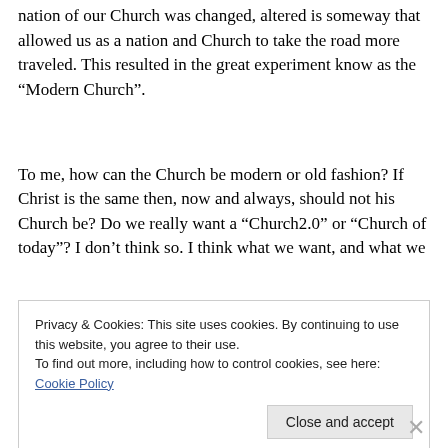nation of our Church was changed, altered is someway that allowed us as a nation and Church to take the road more traveled. This resulted in the great experiment know as the “Modern Church”.
To me, how can the Church be modern or old fashion? If Christ is the same then, now and always, should not his Church be? Do we really want a “Church2.0” or “Church of today”? I don’t think so. I think what we want, and what we
Privacy & Cookies: This site uses cookies. By continuing to use this website, you agree to their use.
To find out more, including how to control cookies, see here: Cookie Policy
Close and accept
Advertisements